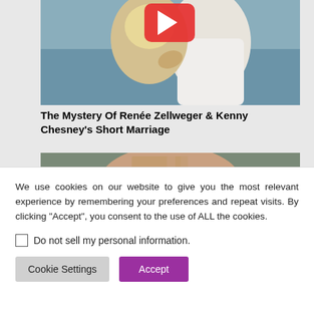[Figure (photo): Couple embracing on a beach, woman with blonde hair hugging a man in white shirt, with a red play button overlay]
The Mystery Of Renée Zellweger & Kenny Chesney's Short Marriage
[Figure (photo): Woman with brown hair touching her face with eyes closed, appearing distressed]
We use cookies on our website to give you the most relevant experience by remembering your preferences and repeat visits. By clicking “Accept”, you consent to the use of ALL the cookies.
Do not sell my personal information.